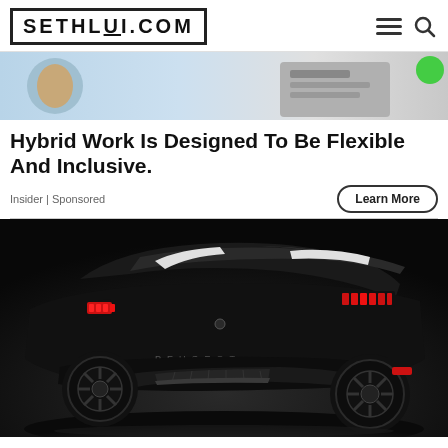SETHLUI.COM
[Figure (photo): Advertisement banner showing people in a hybrid work setting — a person with a tablet on the left and a person writing on the right, with a green element on the far right.]
Hybrid Work Is Designed To Be Flexible And Inclusive.
Insider | Sponsored
Learn More
[Figure (photo): A matte black Peugeot concept car photographed from the rear three-quarter angle, showing dramatic styling with red tail light accents, a large rear spoiler, carbon-fiber-look body panels, and large dark alloy wheels. The PEUGEOT lettering is visible on the rear bumper.]